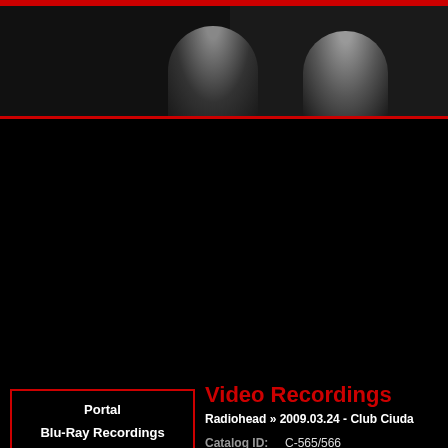[Figure (photo): Dark header banner with silhouettes of two people against a dark background, with a red border stripe at top]
Portal
Blu-Ray Recordings
Live Recordings
Audio
Video
Video Recordings
Radiohead » 2009.03.24 - Club Ciuda
Catalog ID: C-565/566
Band name: Radiohead